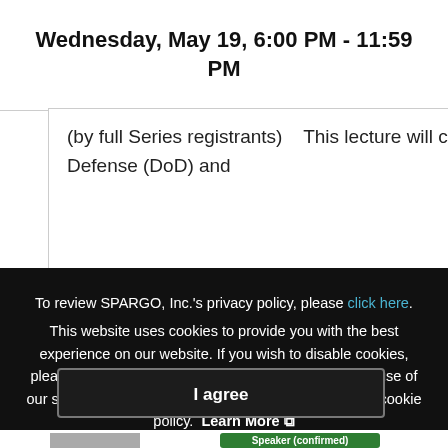Wednesday, May 19, 6:00 PM - 11:59 PM
(by full Series registrants)    This lecture will cover the implications for the Department of Defense (DoD) and
To review SPARGO, Inc.'s privacy policy, please click here. This website uses cookies to provide you with the best experience on our website. If you wish to disable cookies, please do so in your browser settings. Your continued use of our site without disabling your cookies is subject to the cookie policy. Learn More
I agree
Speaker (confirmed)